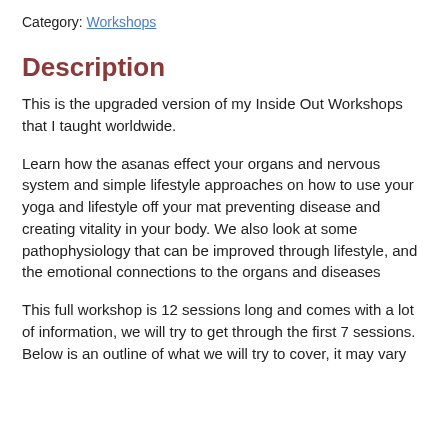Category: Workshops
Description
This is the upgraded version of my Inside Out Workshops that I taught worldwide.
Learn how the asanas effect your organs and nervous system and simple lifestyle approaches on how to use your yoga and lifestyle off your mat preventing disease and creating vitality in your body. We also look at some pathophysiology that can be improved through lifestyle, and the emotional connections to the organs and diseases
This full workshop is 12 sessions long and comes with a lot of information, we will try to get through the first 7 sessions. Below is an outline of what we will try to cover, it may vary